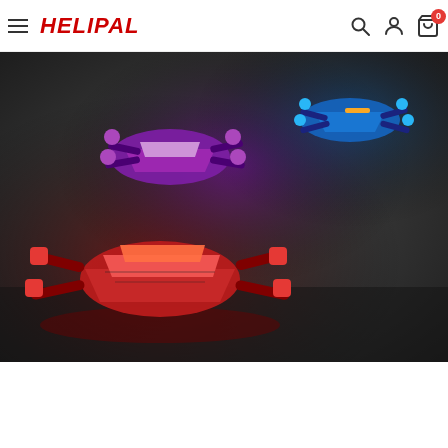HELIPAL - navigation bar with hamburger menu, logo, search, account, and cart icons
[Figure (photo): Product photo of multiple FPV racing drone frames in different colors (red, purple, blue) arranged on a dark reflective surface. The frames are carbon fiber with colorful injection-molded canopies. The red drone is in front, purple in the middle, and blue in the background right. Reflections visible on the surface beneath.]